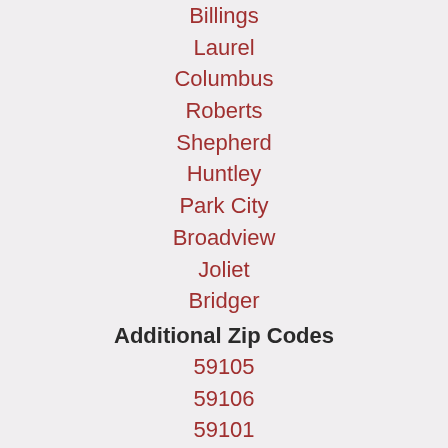Billings
Laurel
Columbus
Roberts
Shepherd
Huntley
Park City
Broadview
Joliet
Bridger
Additional Zip Codes
59105
59106
59101
59102
59044